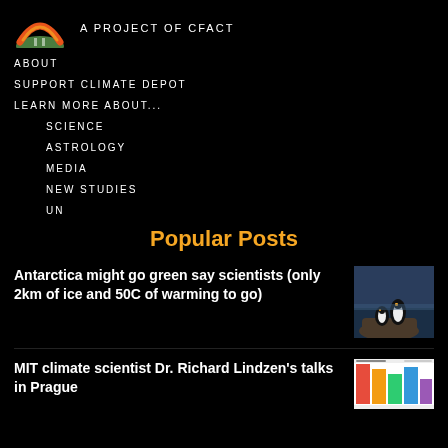A PROJECT OF CFACT
ABOUT
SUPPORT CLIMATE DEPOT
LEARN MORE ABOUT...
SCIENCE
ASTROLOGY
MEDIA
NEW STUDIES
UN
Popular Posts
Antarctica might go green say scientists (only 2km of ice and 50C of warming to go)
[Figure (photo): Two penguins on a rock near water in Antarctica]
MIT climate scientist Dr. Richard Lindzen's talks in Prague
[Figure (photo): A chart/infographic with colored bar elements]